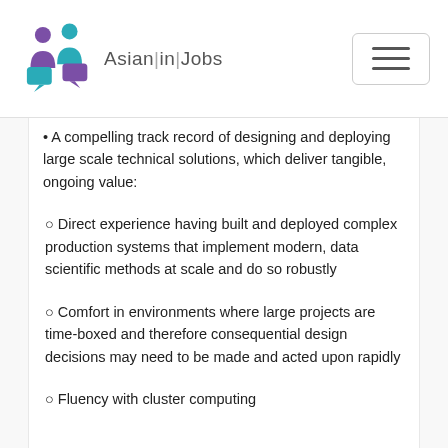Asian|in|Jobs
A compelling track record of designing and deploying large scale technical solutions, which deliver tangible, ongoing value:
Direct experience having built and deployed complex production systems that implement modern, data scientific methods at scale and do so robustly
Comfort in environments where large projects are time-boxed and therefore consequential design decisions may need to be made and acted upon rapidly
Fluency with cluster computing